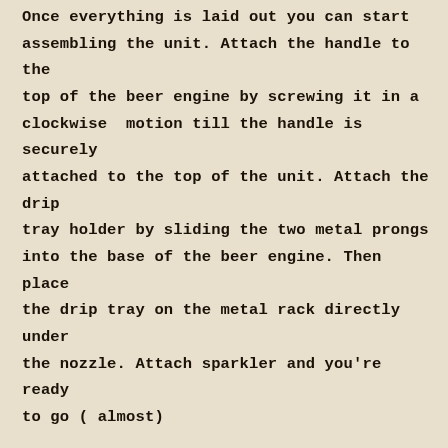Once everything is laid out you can start assembling the unit. Attach the handle to the top of the beer engine by screwing it in a clockwise  motion till the handle is securely attached to the top of the unit. Attach the drip tray holder by sliding the two metal prongs into the base of the beer engine. Then place the drip tray on the metal rack directly under the nozzle. Attach sparkler and you’re ready to go ( almost)
MOUNTING
We are completely out of space in the office, so we decided to create space by cutting one of